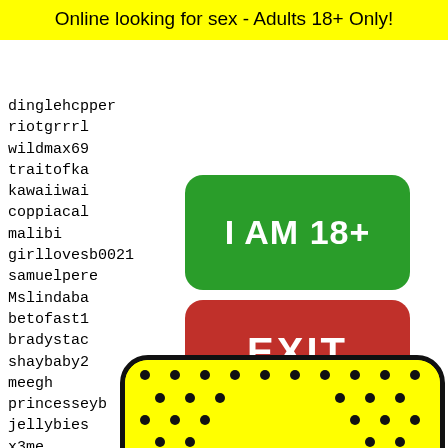Online looking for sex - Adults 18+ Only!
dinglehcpper
riotgrrrl
wildmax69
traitofka...
kawaiiwai...
coppiacal...
malibi
girllovesb0021
samuelpere...
Mslindaba...
betofast1...
bradystac...
shaybaby2...
meegh
princesseyb
jellybies
x3me
TPAVIABOS
annalisa7428965
luke48 ...
brittr...
josema...
bstran...
somosa...
d-a-ni...
[Figure (other): Green button labeled I AM 18+]
[Figure (other): Red button labeled EXIT]
4428 4429 4430 4431 4432
[Figure (photo): Yellow and black Snapchat ghost logo image at bottom]